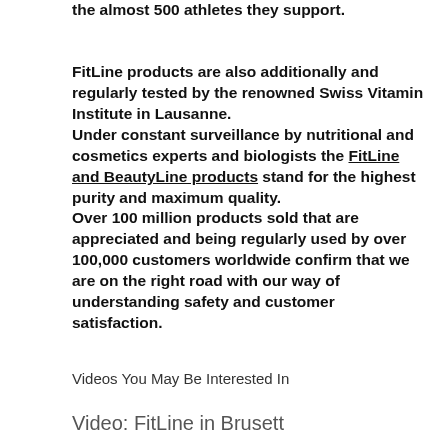the almost 500 athletes they support.
FitLine products are also additionally and regularly tested by the renowned Swiss Vitamin Institute in Lausanne.
Under constant surveillance by nutritional and cosmetics experts and biologists the FitLine and BeautyLine products stand for the highest purity and maximum quality.
Over 100 million products sold that are appreciated and being regularly used by over 100,000 customers worldwide confirm that we are on the right road with our way of understanding safety and customer satisfaction.
Videos You May Be Interested In
Video: FitLine in Brusett